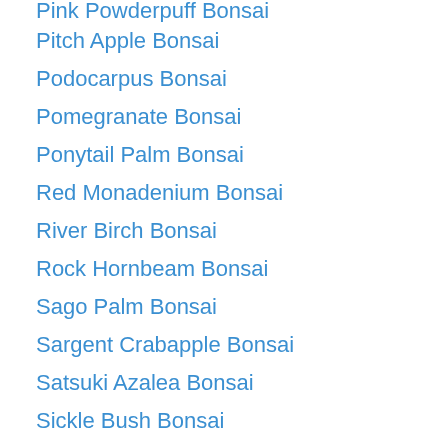Pink Powderpuff Bonsai
Pitch Apple Bonsai
Podocarpus Bonsai
Pomegranate Bonsai
Ponytail Palm Bonsai
Red Monadenium Bonsai
River Birch Bonsai
Rock Hornbeam Bonsai
Sago Palm Bonsai
Sargent Crabapple Bonsai
Satsuki Azalea Bonsai
Sickle Bush Bonsai
Snow Rose Bonsai
Snowbush Bonsai
Star Jasmine Bonsai